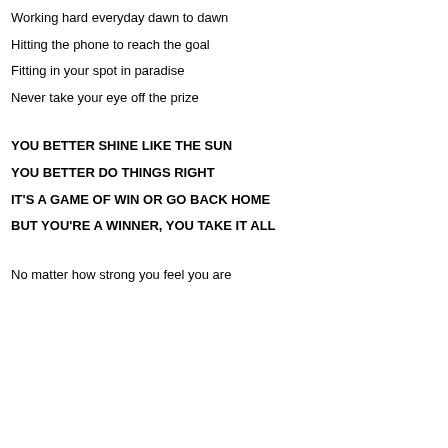Working hard everyday dawn to dawn
Hitting the phone to reach the goal
Fitting in your spot in paradise
Never take your eye off the prize
YOU BETTER SHINE LIKE THE SUN
YOU BETTER DO THINGS RIGHT
IT'S A GAME OF WIN OR GO BACK HOME
BUT YOU'RE A WINNER, YOU TAKE IT ALL
No matter how strong you feel you are